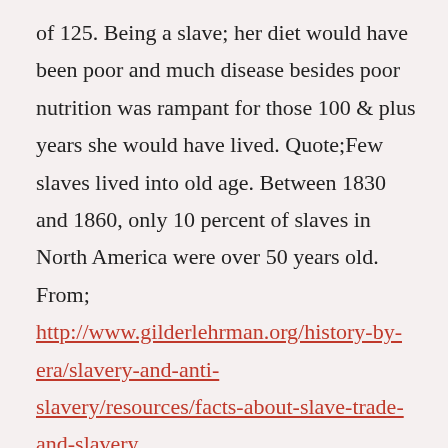of 125. Being a slave; her diet would have been poor and much disease besides poor nutrition was rampant for those 100 & plus years she would have lived. Quote;Few slaves lived into old age. Between 1830 and 1860, only 10 percent of slaves in North America were over 50 years old. From; http://www.gilderlehrman.org/history-by-era/slavery-and-anti-slavery/resources/facts-about-slave-trade-and-slavery
Reply